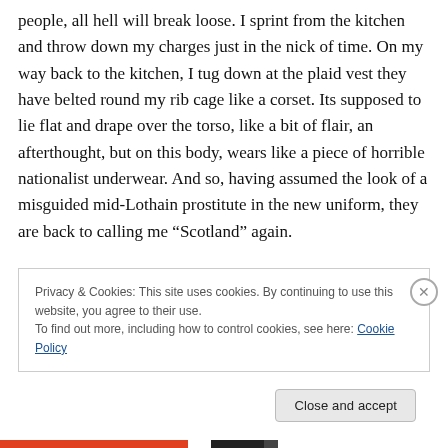people, all hell will break loose. I sprint from the kitchen and throw down my charges just in the nick of time. On my way back to the kitchen, I tug down at the plaid vest they have belted round my rib cage like a corset. Its supposed to lie flat and drape over the torso, like a bit of flair, an afterthought, but on this body, wears like a piece of horrible nationalist underwear. And so, having assumed the look of a misguided mid-Lothain prostitute in the new uniform, they are back to calling me “Scotland” again.
Privacy & Cookies: This site uses cookies. By continuing to use this website, you agree to their use.
To find out more, including how to control cookies, see here: Cookie Policy
Close and accept